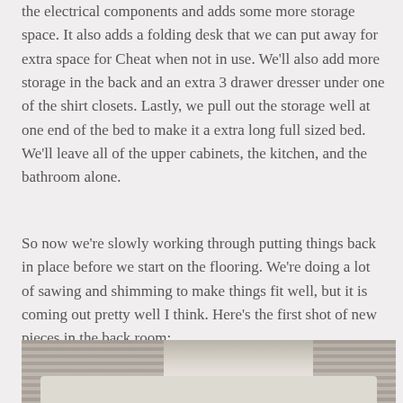the electrical components and adds some more storage space. It also adds a folding desk that we can put away for extra space for Cheat when not in use. We'll also add more storage in the back and an extra 3 drawer dresser under one of the shirt closets. Lastly, we pull out the storage well at one end of the bed to make it a extra long full sized bed. We'll leave all of the upper cabinets, the kitchen, and the bathroom alone.
So now we're slowly working through putting things back in place before we start on the flooring. We're doing a lot of sawing and shimming to make things fit well, but it is coming out pretty well I think. Here's the first shot of new pieces in the back room:
[Figure (photo): Interior photo of the back room of a vehicle or RV showing window blinds, a light-colored surface or desk, and storage areas.]